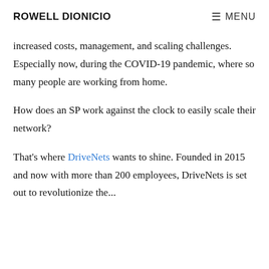ROWELL DIONICIO   ≡ MENU
increased costs, management, and scaling challenges. Especially now, during the COVID-19 pandemic, where so many people are working from home.
How does an SP work against the clock to easily scale their network?
That's where DriveNets wants to shine. Founded in 2015 and now with more than 200 employees, DriveNets is set out to revolutionize the...